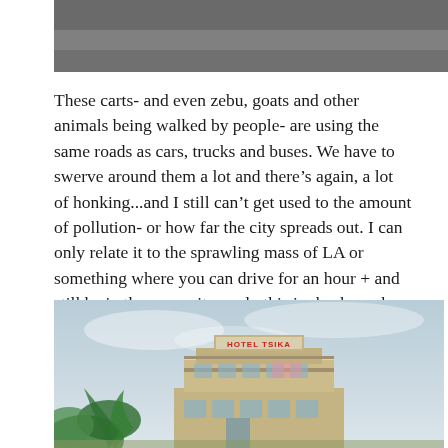[Figure (photo): Top portion of a photo showing a grey road or sky scene, cropped at top of page]
These carts- and even zebu, goats and other animals being walked by people- are using the same roads as cars, trucks and buses. We have to swerve around them a lot and there's again, a lot of honking...and I still can't get used to the amount of pollution- or how far the city spreads out. I can only relate it to the sprawling mass of LA or something where you can drive for an hour + and still be in the same city...only this is shacks and shanty towns for miles and miles.
[Figure (photo): Photo of Hotel Tsika building, a multi-story concrete structure with a sign reading HOTEL TSIKA on top, surrounded by tropical foliage and under a hazy sky]